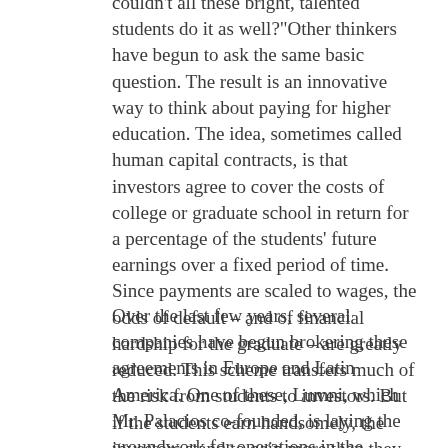couldn't all these bright, talented students do it as well?"Other thinkers have begun to ask the same basic question. The result is an innovative way to think about paying for higher education. The idea, sometimes called human capital contracts, is that investors agree to cover the costs of college or graduate school in return for a percentage of the students' future earnings over a fixed period of time. Since payments are scaled to wages, the odds of default – and of financial hardship for the graduate – are greatly reduced. This scheme transfers much of the risk from students to investors. But if the students earn handsomely, the investors stand to gain more than they would under a traditional loan.
Over the last few years, several companies have begun brokering these agreements in Europe and Latin America. One of these, Lumni, which Mr. Palacios co-founded, is laying the groundwork for operations in the United States, and its first few clients here plan to sign contracts by the year's end.